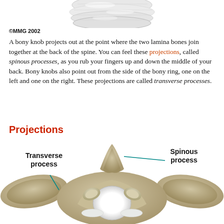[Figure (illustration): Top portion of a spinal cord/vertebra illustration showing white fibrous tissue, partially cropped at the top of the page]
©MMG 2002
A bony knob projects out at the point where the two lamina bones join together at the back of the spine. You can feel these projections, called spinous processes, as you rub your fingers up and down the middle of your back. Bony knobs also point out from the side of the bony ring, one on the left and one on the right. These projections are called transverse processes.
Projections
[Figure (illustration): 3D anatomical illustration of a vertebra viewed from above/behind, showing the spinous process (labeled at top right with teal line) and transverse processes (labeled at left with teal line). The vertebra is rendered in tan/bone color with a white circular foramen in the center.]